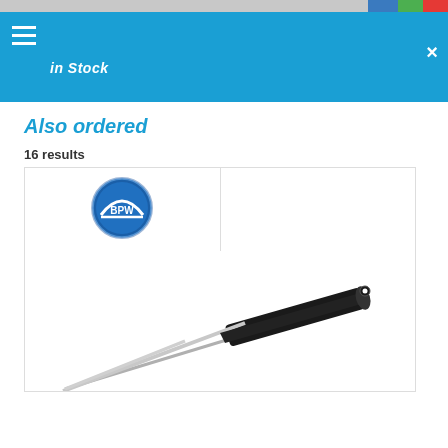[Figure (screenshot): Browser chrome top bar with grey background]
[Figure (screenshot): Blue header bar with hamburger menu icon on left, 'in Stock' italic text, and X close button on right]
Also ordered
16 results
[Figure (logo): BPW circular logo with blue background and white bridge/axle icon with letters B, P, W]
[Figure (photo): Gas strut / pneumatic spring component - metal rod with black cylindrical body and mounting hole at top end, shown diagonally]